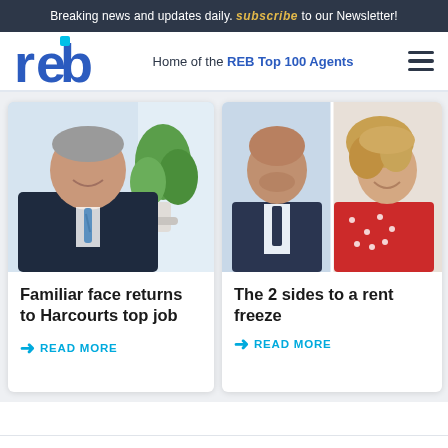Breaking news and updates daily. Subscribe to our Newsletter!
[Figure (logo): REB logo in blue with stylized letters r, e, b]
Home of the REB Top 100 Agents
[Figure (photo): Man in dark suit smiling, with green plant in background]
Familiar face returns to Harcourts top job
READ MORE
[Figure (photo): Two people side by side: bald man in suit on left, woman with curly hair in red dress on right]
The 2 sides to a rent freeze
READ MORE